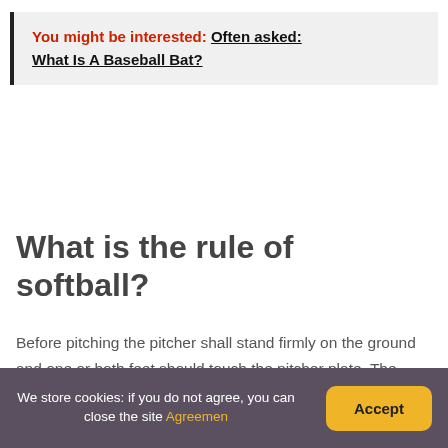You might be interested: Often asked: What Is A Baseball Bat?
What is the rule of softball?
Before pitching the pitcher shall stand firmly on the ground and one or both feet should touch the pitcher plate. The pitcher is not allowed to stop or bounce the ball in pitching position as it may prevent the batsman from hitting the ball. The pitcher cannot use any kind of tape on the ball.
We store cookies: if you do not agree, you can close the site Agreemen